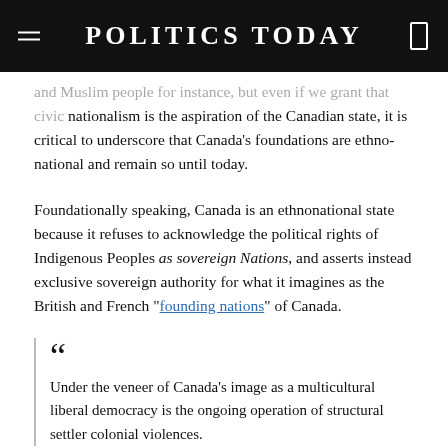POLITICS TODAY
and Muslim people for instance, but even if we grant that civic nationalism is the aspiration of the Canadian state, it is critical to underscore that Canada's foundations are ethno-national and remain so until today.
Foundationally speaking, Canada is an ethnonational state because it refuses to acknowledge the political rights of Indigenous Peoples as sovereign Nations, and asserts instead exclusive sovereign authority for what it imagines as the British and French “founding nations” of Canada.
Under the veneer of Canada’s image as a multicultural liberal democracy is the ongoing operation of structural settler colonial violences.